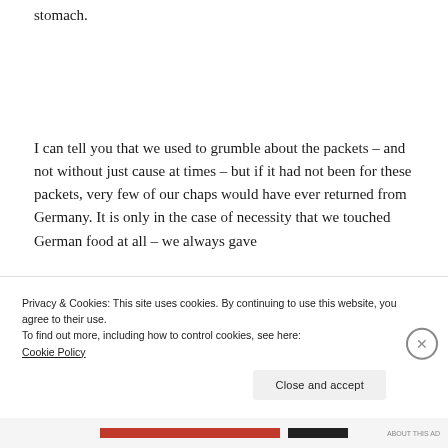stomach.
I can tell you that we used to grumble about the packets – and not without just cause at times – but if it had not been for these packets, very few of our chaps would have ever returned from Germany. It is only in the case of necessity that we touched German food at all – we always gave
Privacy & Cookies: This site uses cookies. By continuing to use this website, you agree to their use.
To find out more, including how to control cookies, see here:
Cookie Policy
Close and accept